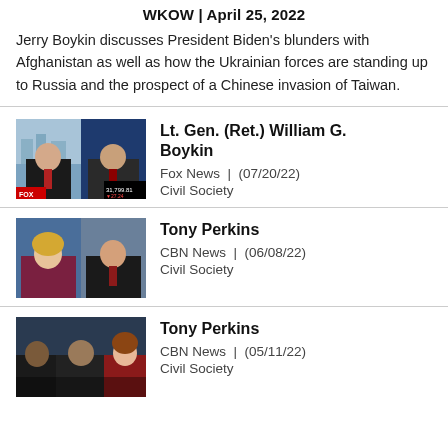WKOW | April 25, 2022
Jerry Boykin discusses President Biden's blunders with Afghanistan as well as how the Ukrainian forces are standing up to Russia and the prospect of a Chinese invasion of Taiwan.
[Figure (photo): TV split-screen thumbnail showing two men on Fox News broadcast]
Lt. Gen. (Ret.) William G. Boykin
Fox News | (07/20/22)
Civil Society
[Figure (photo): TV split-screen thumbnail showing a woman and a man on CBN News broadcast]
Tony Perkins
CBN News | (06/08/22)
Civil Society
[Figure (photo): TV split-screen thumbnail showing three people on CBN News broadcast]
Tony Perkins
CBN News | (05/11/22)
Civil Society